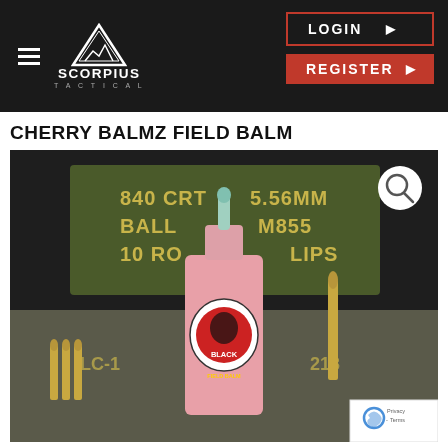[Figure (screenshot): Scorpius Tactical website header with hamburger menu, logo (triangle icon with SCORPIUS TACTICAL text), LOGIN button with red border, and REGISTER button with red background]
CHERRY BALMZ FIELD BALM
[Figure (photo): Product photo of Black Rifle Field Balm bottle (pink/red dropper bottle with Black Rifle logo) surrounded by ammunition bullets, on a textile/canvas background with an ammunition can showing '840 CTGS 5.56MM BALL M855 10 ROUND CLIPS' text in background. A magnify/search icon is in the top right corner of the image.]